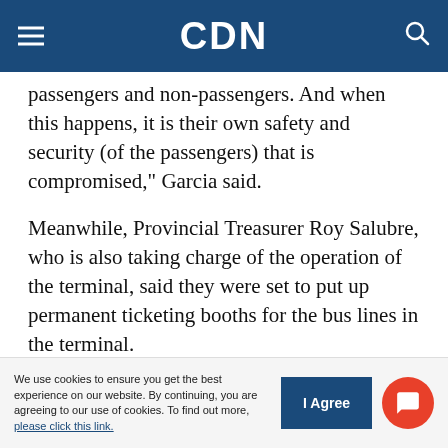CDN
passengers and non-passengers. And when this happens, it is their own safety and security (of the passengers) that is compromised," Garcia said.
Meanwhile, Provincial Treasurer Roy Salubre, who is also taking charge of the operation of the terminal, said they were set to put up permanent ticketing booths for the bus lines in the terminal.
The Provincial Engineering Office, Salubre said, had already started with the design for the booths which would sit on the office spaces which were
We use cookies to ensure you get the best experience on our website. By continuing, you are agreeing to our use of cookies. To find out more, please click this link.